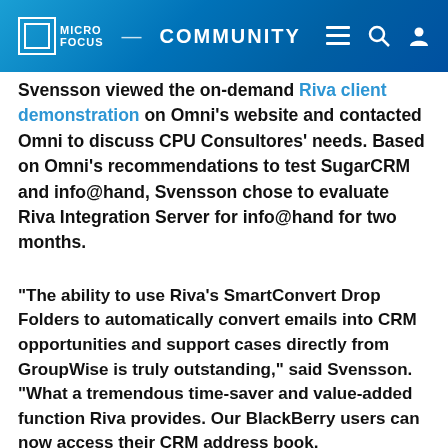MICRO FOCUS COMMUNITY
Svensson viewed the on-demand Riva client demonstration on Omni's website and contacted Omni to discuss CPU Consultores' needs. Based on Omni's recommendations to test SugarCRM and info@hand, Svensson chose to evaluate Riva Integration Server for info@hand for two months.
"The ability to use Riva's SmartConvert Drop Folders to automatically convert emails into CRM opportunities and support cases directly from GroupWise is truly outstanding," said Svensson. "What a tremendous time-saver and value-added function Riva provides. Our BlackBerry users can now access their CRM address book, opportunities and support cases from anywhere in the world. As an administrator, I have full control over info@hand CRM and how the integration works."